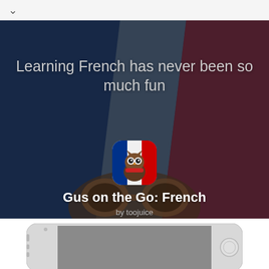[Figure (screenshot): App store page for 'Gus on the Go: French' by toojuice. Shows a hero banner with French flag colors in the background, an owl mascot app icon, the app title 'Gus on the Go: French', subtitle 'by toojuice', and a tagline 'Learning French has never been so much fun'. Below is a partial phone mockup showing a grey app screen.]
Learning French has never been so much fun
Gus on the Go: French
by toojuice